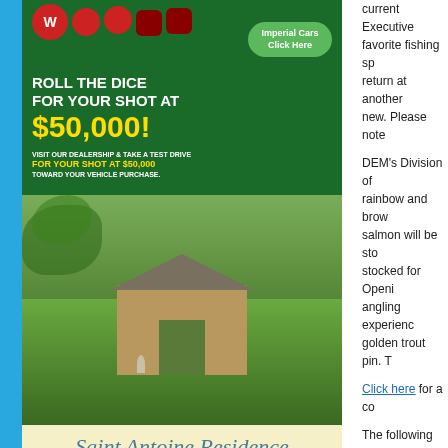[Figure (illustration): Advertisement: Roll the dice for your shot at $50,000 casino-themed car dealership ad with dice and money bag on green background, with Imperial Cars Click Here button]
[Figure (photo): Photo of Saint Antoine Residence nursing care facility exterior showing brick building with landscaped grounds]
Saint Antoine Residence — EXCELLENCE IN NURSING CARE
current Executive... favorite fishing sp... return at another... new. Please note...
DEM's Division of... rainbow and brow... salmon will be sto... stocked for Openi... angling experienc... golden trout pin. T...
Click here for a co...
The following loca... access for stockin...
Children-only
Dundery Broo...
Foster Green...
Geneva Broo...
Memorial Par...
Spring Grove...